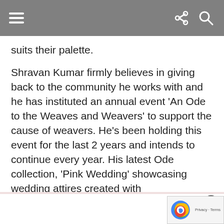[Navigation bar with hamburger menu, share icon, search icon]
suits their palette.
Shravan Kumar firmly believes in giving back to the community he works with and he has instituted an annual event ‘An Ode to the Weaves and Weavers’ to support the cause of weavers. He’s been holding this event for the last 2 years and intends to continue every year. His latest Ode collection, ‘Pink Wedding’ showcasing wedding attires created with
[Figure (screenshot): Email subscription form with fields for Email, First name, and Last name, plus a close button and reCAPTCHA badge]
Email *
First name
Last name